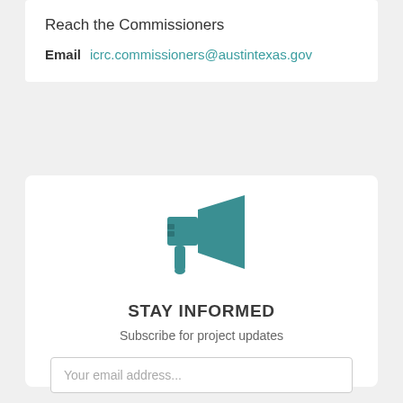Reach the Commissioners
Email   icrc.commissioners@austintexas.gov
[Figure (illustration): Megaphone icon in teal color]
STAY INFORMED
Subscribe for project updates
Your email address...
SUBSCRIBE